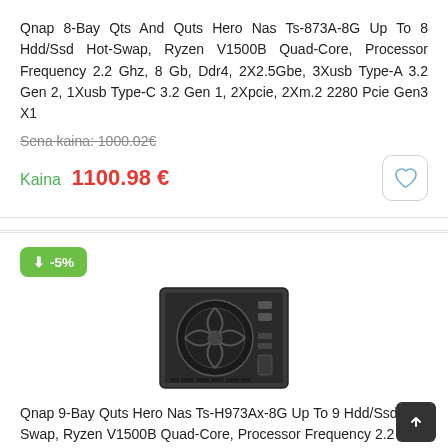Qnap 8-Bay Qts And Quts Hero Nas Ts-873A-8G Up To 8 Hdd/Ssd Hot-Swap, Ryzen V1500B Quad-Core, Processor Frequency 2.2 Ghz, 8 Gb, Ddr4, 2X2.5Gbe, 3Xusb Type-A 3.2 Gen 2, 1Xusb Type-C 3.2 Gen 1, 2Xpcie, 2Xm.2 2280 Pcie Gen3 X1
Sena kaina: 1000.02€
Kaina 1100.98 €
[Figure (photo): QNAP NAS device rear view showing fan and ports]
Qnap 9-Bay Quts Hero Nas Ts-H973Ax-8G Up To 9 Hdd/Ssd Hot-Swap, Ryzen V1500B Quad-Core, Processor Frequency 2.2 Ghz, 8 Gb, Ddr4, 2X2.5Gbe, 1X10Gbe, 1Xusb Type-C 3.2 Gen 2, 3Xusb Type-A 3.2 Gen 2
Sena kaina: 1030.73€